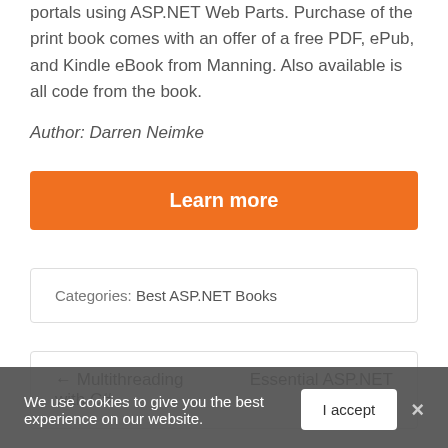portals using ASP.NET Web Parts. Purchase of the print book comes with an offer of a free PDF, ePub, and Kindle eBook from Manning. Also available is all code from the book.
Author: Darren Neimke
[Figure (other): Orange 'Learn more' button]
Categories: Best ASP.NET Books
← Multithreading with C#     Essential ASP.NET With
We use cookies to give you the best experience on our website.
I accept